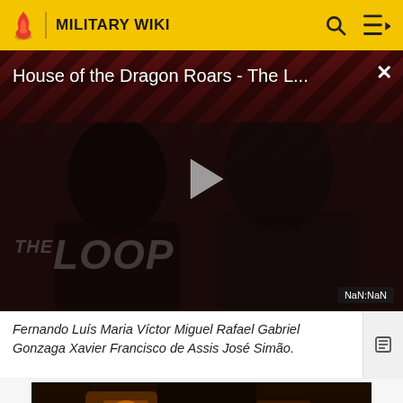MILITARY WIKI
[Figure (screenshot): Video player showing 'House of the Dragon Roars - The L...' with a play button, diagonal red and dark stripes background, shadowy figure, THE LOOP watermark, and NaN:NaN timestamp badge]
Fernando Luís Maria Víctor Miguel Rafael Gabriel Gonzaga Xavier Francisco de Assis José Simão.
[Figure (screenshot): Bottom partial image showing a dark fantasy/ornate scene with golden tones, appears to be a game or movie screenshot]